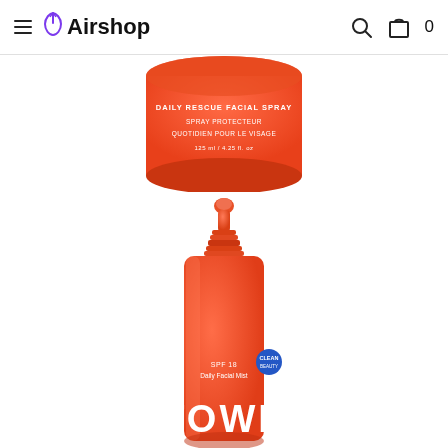Airshop — navigation bar with hamburger menu, search icon, bag icon, 0
[Figure (photo): Top portion of a red/orange cylindrical product container labeled 'DAILY RESCUE FACIAL SPRAY / SPRAY PROTECTEUR QUOTIDIEN POUR LE VISAGE / 125 ml / 4.25 fl. oz' on white background]
[Figure (photo): Red/orange spray bottle with pump nozzle, branded 'TOWE' (Tower 28 Beauty), shown from front on white background. Bottle has a blue circular badge on it.]